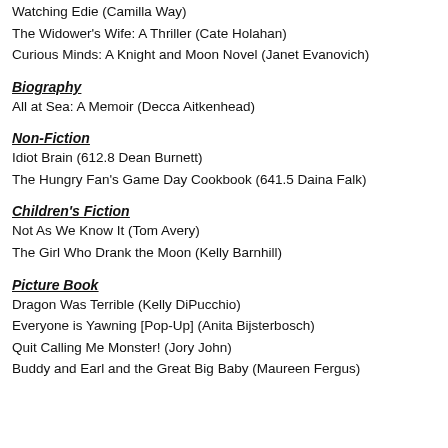Watching Edie (Camilla Way)
The Widower's Wife: A Thriller (Cate Holahan)
Curious Minds: A Knight and Moon Novel (Janet Evanovich)
Biography
All at Sea: A Memoir (Decca Aitkenhead)
Non-Fiction
Idiot Brain (612.8 Dean Burnett)
The Hungry Fan's Game Day Cookbook (641.5 Daina Falk)
Children's Fiction
Not As We Know It (Tom Avery)
The Girl Who Drank the Moon (Kelly Barnhill)
Picture Book
Dragon Was Terrible (Kelly DiPucchio)
Everyone is Yawning [Pop-Up] (Anita Bijsterbosch)
Quit Calling Me Monster! (Jory John)
Buddy and Earl and the Great Big Baby (Maureen Fergus)